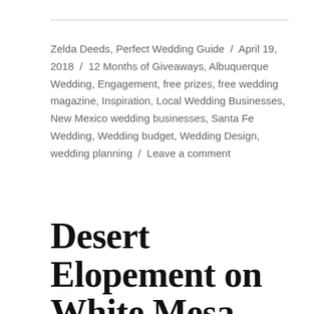Zelda Deeds, Perfect Wedding Guide / April 19, 2018 / 12 Months of Giveaways, Albuquerque Wedding, Engagement, free prizes, free wedding magazine, Inspiration, Local Wedding Businesses, New Mexico wedding businesses, Santa Fe Wedding, Wedding budget, Wedding Design, wedding planning / Leave a comment
Desert Elopement on White Mesa {Styled Shoot}